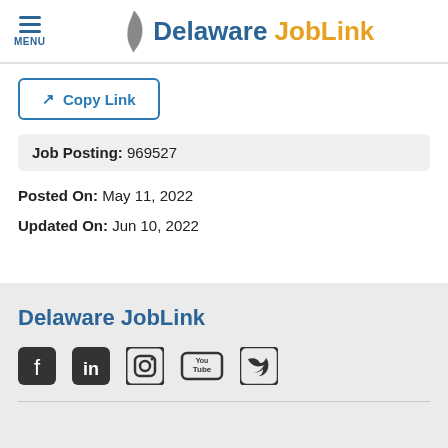Delaware JobLink
Copy Link
Job Posting: 969527
Posted On: May 11, 2022
Updated On: Jun 10, 2022
Delaware JobLink